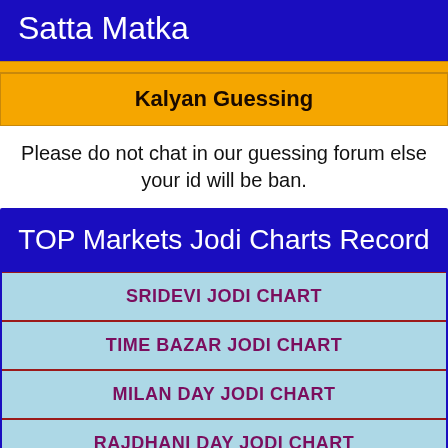Satta Matka
Kalyan Guessing
Please do not chat in our guessing forum else your id will be ban.
TOP Markets Jodi Charts Record
SRIDEVI JODI CHART
TIME BAZAR JODI CHART
MILAN DAY JODI CHART
RAJDHANI DAY JODI CHART